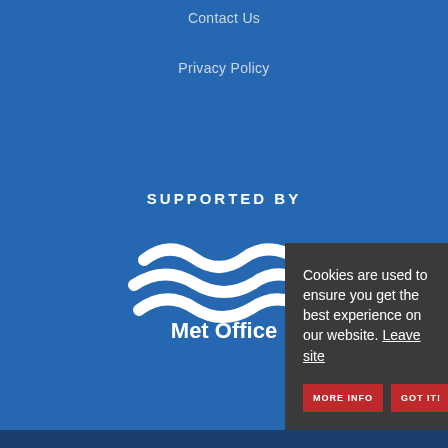Contact Us
Privacy Policy
SUPPORTED BY
[Figure (logo): Met Office logo — three white wave lines above the text 'Met Office' in white, on a blue background]
Cookies are used to ensure you get the best experience on our website. Leave site
MORE INFO
GOT IT!